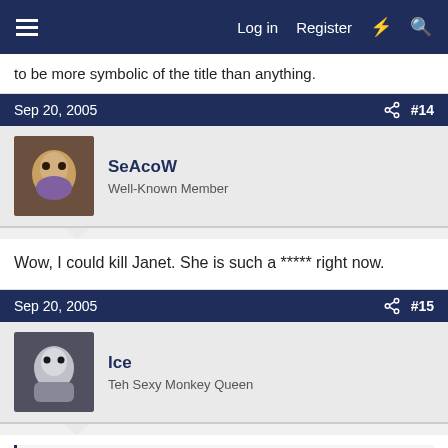Log in  Register
to be more symbolic of the title than anything.
Sep 20, 2005  #14
SeAcoW
Well-Known Member
Wow, I could kill Janet. She is such a ***** right now.
Sep 20, 2005  #15
Ice
Teh Sexy Monkey Queen
SeAcoW said:
Wow, I could kill Janet. She is such a ***** right now.
No she's not. She has perfect reason to act the way she's